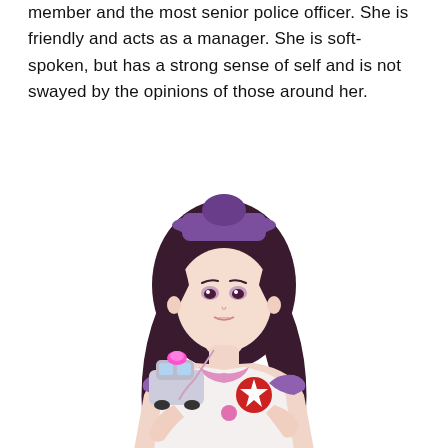member and the most senior police officer. She is friendly and acts as a manager. She is soft-spoken, but has a strong sense of self and is not swayed by the opinions of those around her.
[Figure (illustration): Anime-style illustration of a young woman with long dark purple-black hair wearing a purple police cap, a white and pink uniform with a red star badge, holding a small police car toy with a pink light on top. She has a gentle expression and is depicted from the waist up.]